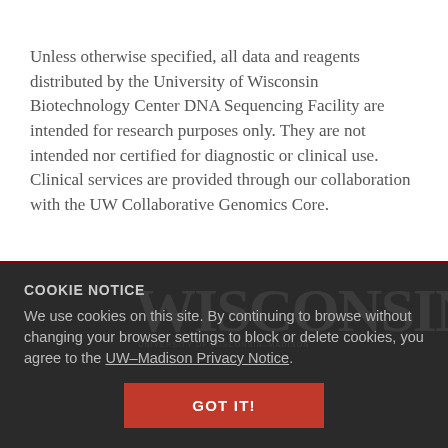Unless otherwise specified, all data and reagents distributed by the University of Wisconsin Biotechnology Center DNA Sequencing Facility are intended for research purposes only. They are not intended nor certified for diagnostic or clinical use. Clinical services are provided through our collaboration with the UW Collaborative Genomics Core.
COOKIE NOTICE
We use cookies on this site. By continuing to browse without changing your browser settings to block or delete cookies, you agree to the UW–Madison Privacy Notice.
GOT IT!